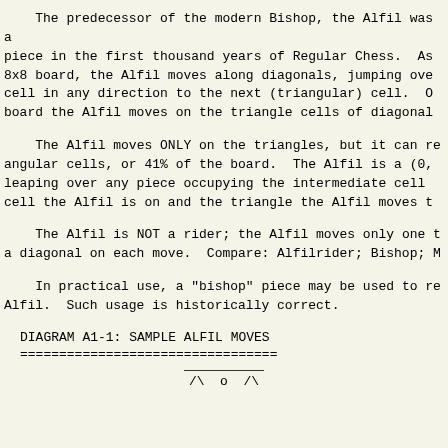The predecessor of the modern Bishop, the Alfil was a piece in the first thousand years of Regular Chess.  As 8x8 board, the Alfil moves along diagonals, jumping ove cell in any direction to the next (triangular) cell.  O board the Alfil moves on the triangle cells of diagonal
The Alfil moves ONLY on the triangles, but it can re angular cells, or 41% of the board.  The Alfil is a (0, leaping over any piece occupying the intermediate cell  cell the Alfil is on and the triangle the Alfil moves t
The Alfil is NOT a rider; the Alfil moves only one t a diagonal on each move.  Compare: Alfilrider; Bishop; M
In practical use, a "bishop" piece may be used to re Alfil.  Such usage is historically correct.
DIAGRAM A1-1: SAMPLE ALFIL MOVES
=================================
[Figure (illustration): Bottom portion of a chess diagram showing triangle pieces, with a short horizontal rule and partial view of chess piece symbols (triangles and a circle)]